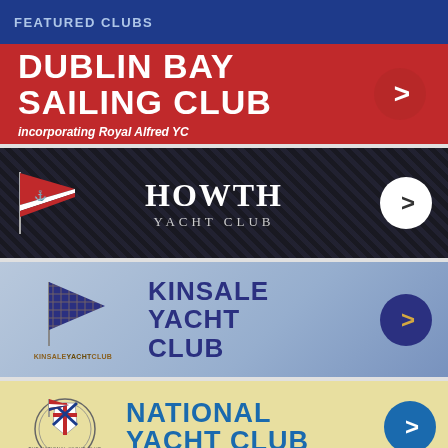FEATURED CLUBS
[Figure (logo): Dublin Bay Sailing Club banner — red background, large white bold text 'DUBLIN BAY SAILING CLUB', subtitle 'incorporating Royal Alfred YC', right-arrow circle]
[Figure (logo): Howth Yacht Club banner — dark textured background, pennant flag on left, serif white text 'HOWTH YACHT CLUB', white circle arrow on right]
[Figure (logo): Kinsale Yacht Club banner — blue-grey gradient, pennant flag and KYC wordmark on left, navy text 'KINSALE YACHT CLUB', dark navy circle with gold arrow on right]
[Figure (logo): National Yacht Club banner — yellow/cream background, NYC crest logo on left, blue text 'NATIONAL YACHT CLUB', blue circle with white arrow on right]